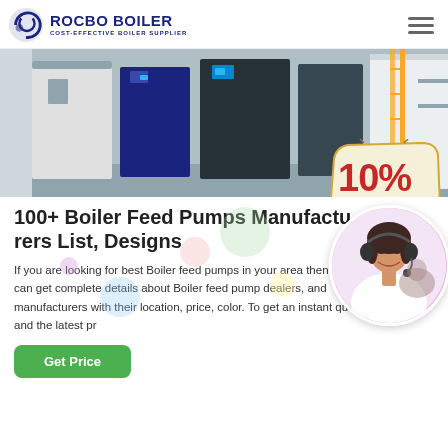[Figure (logo): Rocbo Boiler logo with crescent moon icon and text 'ROCBO BOILER - COST-EFFECTIVE BOILER SUPPLIER']
[Figure (photo): Industrial boiler equipment in a facility, showing dark and light colored boiler units]
[Figure (infographic): 10% DISCOUNT badge/sticker in red and yellow]
100+ Boiler Feed Pumps Manufacturers List, Designs
If you are looking for best Boiler feed pumps in your area then here you can get complete details about Boiler feed pump dealers, and manufacturers with their location, price, color. To get an instant quote and the latest pr
[Figure (photo): Customer service representative with headset, smiling]
Get Price